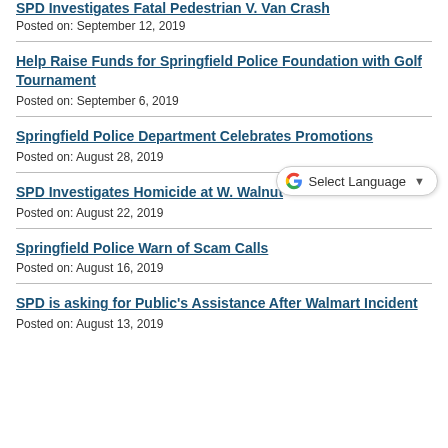SPD Investigates Fatal Pedestrian V. Van Crash
Posted on: September 12, 2019
Help Raise Funds for Springfield Police Foundation with Golf Tournament
Posted on: September 6, 2019
Springfield Police Department Celebrates Promotions
Posted on: August 28, 2019
SPD Investigates Homicide at W. Walnut
Posted on: August 22, 2019
Springfield Police Warn of Scam Calls
Posted on: August 16, 2019
SPD is asking for Public's Assistance After Walmart Incident
Posted on: August 13, 2019